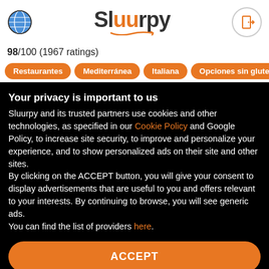[Figure (logo): Sluurpy logo with globe icon on left and door/login icon on right]
98/100 (1967 ratings)
Restaurantes
Mediterránea
Italiana
Opciones sin glute
Your privacy is important to us
Sluurpy and its trusted partners use cookies and other technologies, as specified in our Cookie Policy and Google Policy, to increase site security, to improve and personalize your experience, and to show personalized ads on their site and other sites.
By clicking on the ACCEPT button, you will give your consent to display advertisements that are useful to you and offers relevant to your interests. By continuing to browse, you will see generic ads.
You can find the list of providers here.
ACCEPT